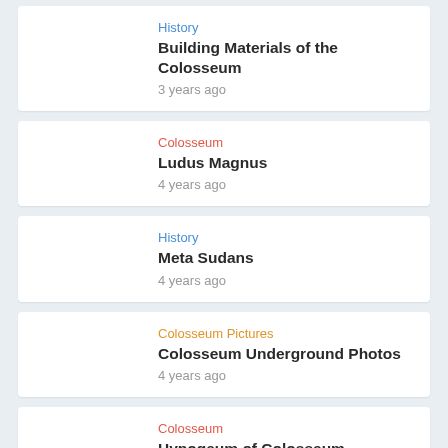History | Building Materials of the Colosseum | 3 years ago
Colosseum | Ludus Magnus | 4 years ago
History | Meta Sudans | 4 years ago
Colosseum Pictures | Colosseum Underground Photos | 4 years ago
Colosseum | Hypogeum of Colosseum | 4 years ago